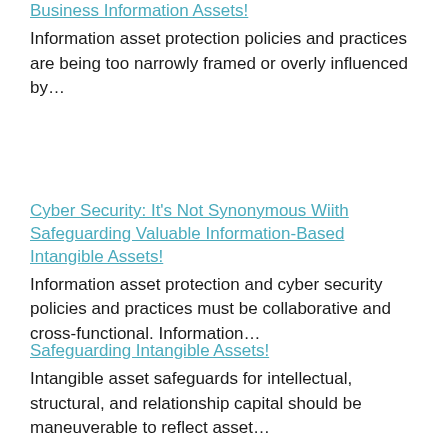Business Information Assets!
Information asset protection policies and practices are being too narrowly framed or overly influenced by…
Cyber Security: It's Not Synonymous Wiith Safeguarding Valuable Information-Based Intangible Assets!
Information asset protection and cyber security policies and practices must be collaborative and cross-functional. Information…
Safeguarding Intangible Assets!
Intangible asset safeguards for intellectual, structural, and relationship capital should be maneuverable to reflect asset…